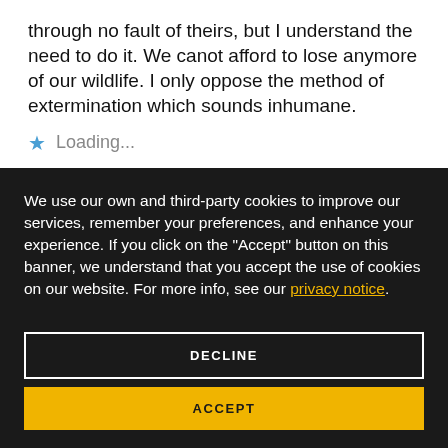through no fault of theirs, but I understand the need to do it. We canot afford to lose anymore of our wildlife. I only oppose the method of extermination which sounds inhumane.
Loading...
We use our own and third-party cookies to improve our services, remember your preferences, and enhance your experience. If you click on the "Accept" button on this banner, we understand that you accept the use of cookies on our website. For more info, see our privacy notice.
DECLINE
ACCEPT